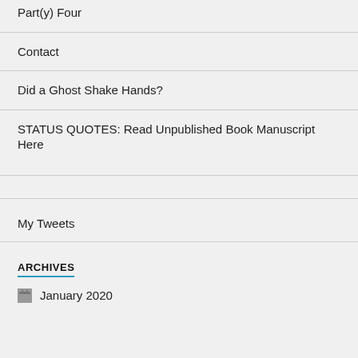Part(y) Four
Contact
Did a Ghost Shake Hands?
STATUS QUOTES: Read Unpublished Book Manuscript Here
My Tweets
ARCHIVES
January 2020